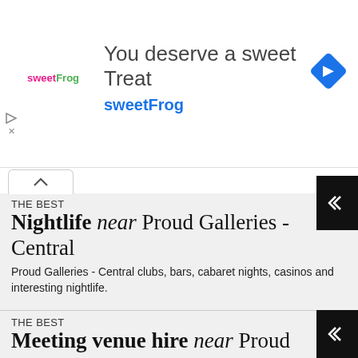[Figure (infographic): Advertisement banner for sweetFrog. Text reads 'You deserve a sweet Treat' with 'sweetFrog' brand name below. sweetFrog logo on left, blue diamond navigation icon on right.]
THE BEST
Nightlife near Proud Galleries - Central
Proud Galleries - Central clubs, bars, cabaret nights, casinos and interesting nightlife.
THE BEST
Meeting venue hire near Proud Galleries - Central
Where to have your meeting, conference, exhibition, private dining or training course near Proud Galleries -